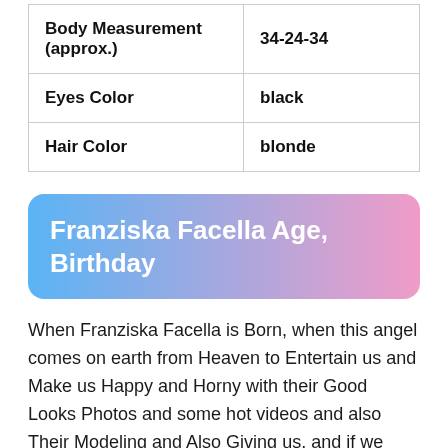| Body Measurement (approx.) | 34-24-34 |
| Eyes Color | black |
| Hair Color | blonde |
Franziska Facella Age, Birthday
When Franziska Facella is Born, when this angel comes on earth from Heaven to Entertain us and Make us Happy and Horny with their Good Looks Photos and some hot videos and also Their Modeling and Also Giving us, and if we think when this angel came on earth,